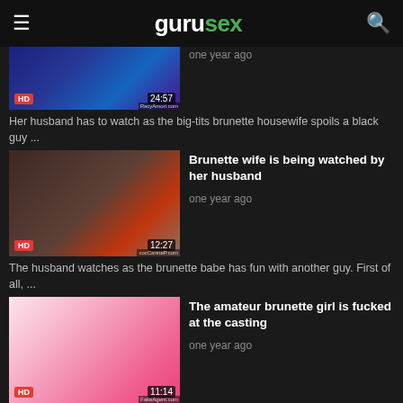gurusex
Her husband has to watch as the big-tits brunette housewife spoils a black guy ...
Brunette wife is being watched by her husband
one year ago
The husband watches as the brunette babe has fun with another guy. First of all, ...
The amateur brunette girl is fucked at the casting
one year ago
The brunette amateur with the small breasts shows during the casting what she